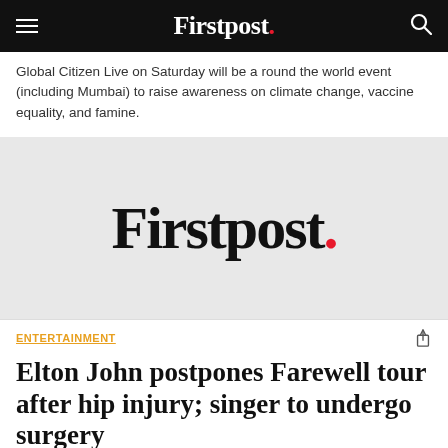Firstpost.
Global Citizen Live on Saturday will be a round the world event (including Mumbai) to raise awareness on climate change, vaccine equality, and famine.
[Figure (logo): Firstpost logo on grey background — large serif wordmark 'Firstpost' with a red period]
ENTERTAINMENT
Elton John postpones Farewell tour after hip injury; singer to undergo surgery
Elton John is postponing the UK and European shows of his Farewell Yellow Brick Road Tour until 2023 due to hip injury.